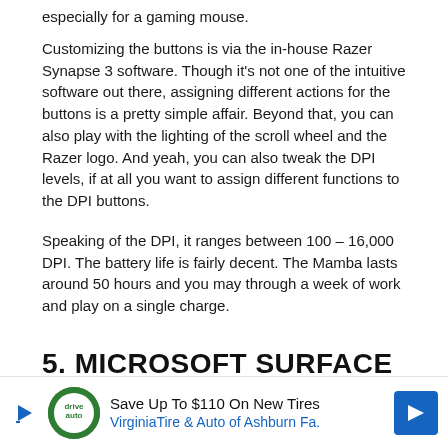especially for a gaming mouse.
Customizing the buttons is via the in-house Razer Synapse 3 software. Though it’s not one of the intuitive software out there, assigning different actions for the buttons is a pretty simple affair. Beyond that, you can also play with the lighting of the scroll wheel and the Razer logo. And yeah, you can also tweak the DPI levels, if at all you want to assign different functions to the DPI buttons.
Speaking of the DPI, it ranges between 100 – 16,000 DPI. The battery life is fairly decent. The Mamba lasts around 50 hours and you may through a week of work and play on a single charge.
5. MICROSOFT SURFACE
PRE
[Figure (other): Advertisement banner: Save Up To $110 On New Tires - VirginiaTire & Auto of Ashburn Fa.]